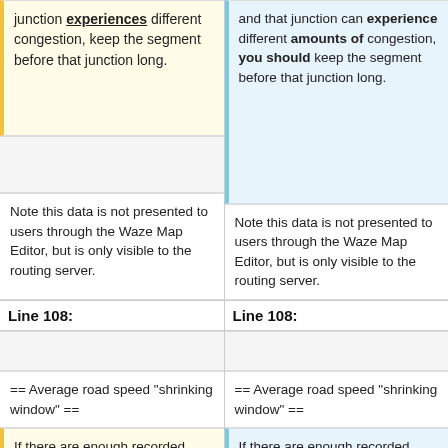junction experiences different congestion, keep the segment before that junction long.
and that junction can experience different amounts of congestion, you should keep the segment before that junction long.
Note this data is not presented to users through the Waze Map Editor, but is only visible to the routing server.
Note this data is not presented to users through the Waze Map Editor, but is only visible to the routing server.
Line 108:
Line 108:
== Average road speed "shrinking window" ==
== Average road speed "shrinking window" ==
If there are enough recorded speeds on a
If there are enough recorded speeds on a